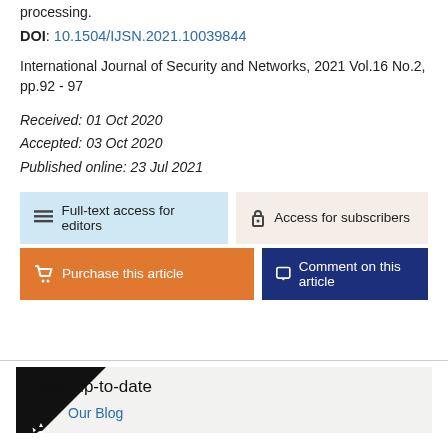processing.
DOI: 10.1504/IJSN.2021.10039844
International Journal of Security and Networks, 2021 Vol.16 No.2, pp.92 - 97
Received: 01 Oct 2020
Accepted: 03 Oct 2020
Published online: 23 Jul 2021
Full-text access for editors
Access for subscribers
Purchase this article
Comment on this article
Keep up-to-date
Our Blog